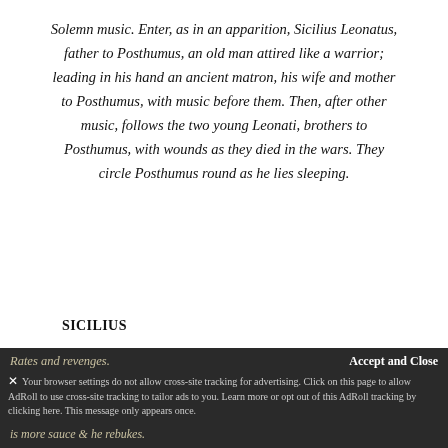Solemn music. Enter, as in an apparition, Sicilius Leonatus, father to Posthumus, an old man attired like a warrior; leading in his hand an ancient matron, his wife and mother to Posthumus, with music before them. Then, after other music, follows the two young Leonati, brothers to Posthumus, with wounds as they died in the wars. They circle Posthumus round as he lies sleeping.
SICILIUS
No more, thou Thunder-master, show
  Thy spite on mortal flies.
With Mars fall out, with Juno chide,
  That thy adulteries
35
Rates and revenges.
[overlay content]